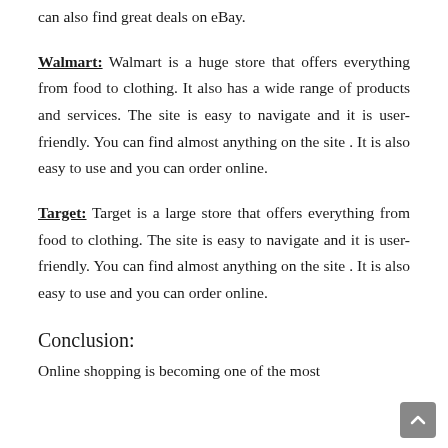can also find great deals on eBay.
Walmart: Walmart is a huge store that offers everything from food to clothing. It also has a wide range of products and services. The site is easy to navigate and it is user-friendly. You can find almost anything on the site . It is also easy to use and you can order online.
Target: Target is a large store that offers everything from food to clothing. The site is easy to navigate and it is user-friendly. You can find almost anything on the site . It is also easy to use and you can order online.
Conclusion:
Online shopping is becoming one of the most